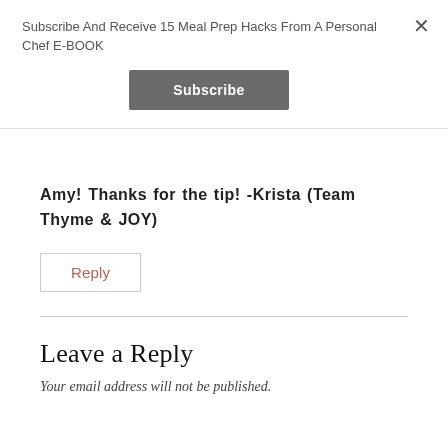Subscribe And Receive 15 Meal Prep Hacks From A Personal Chef E-BOOK
Subscribe
Amy! Thanks for the tip! -Krista (Team Thyme & JOY)
Reply
Leave a Reply
Your email address will not be published.